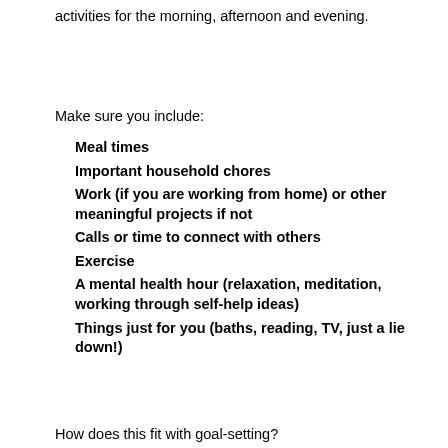activities for the morning, afternoon and evening.
Make sure you include:
Meal times
Important household chores
Work (if you are working from home) or other meaningful projects if not
Calls or time to connect with others
Exercise
A mental health hour (relaxation, meditation, working through self-help ideas)
Things just for you (baths, reading, TV, just a lie down!)
How does this fit with goal-setting?